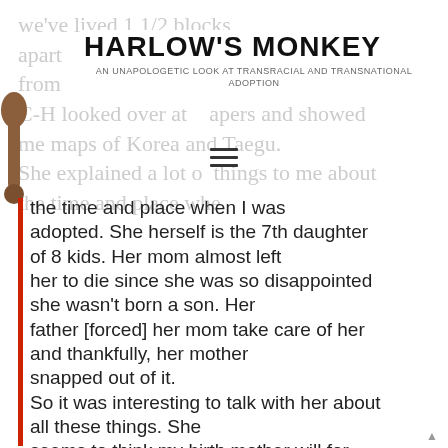HARLOW'S MONKEY
AN UNAPOLOGETIC LOOK AT TRANSRACIAL AND TRANSNATIONAL ADOPTION
we've lived 1 1/2 blocks apart from
C-H looked over at papers and showed
me maps of Korea and Taegu.
She explained a lot of things to me about
the time and place when I was adopted. She herself is the 7th daughter of 8 kids. Her mom almost left her to die since she was so disappointed she wasn't born a son. Her father [forced] her mom take care of her and thankfully, her mother snapped out of it.
So it was interesting to talk with her about all these things. She seems to think my birth mother will for